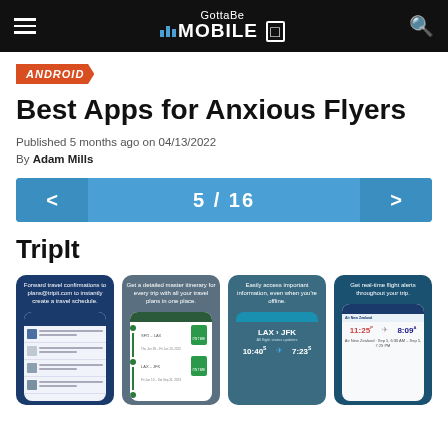GottaBeMobile
ANDROID
Best Apps for Anxious Flyers
Published 5 months ago on 04/13/2022
By Adam Mills
< 5 / 16 >
TripIt
[Figure (screenshot): Four TripIt app screenshots showing travel confirmation forwarding, master itinerary, offline access, and real-time flight alerts features]